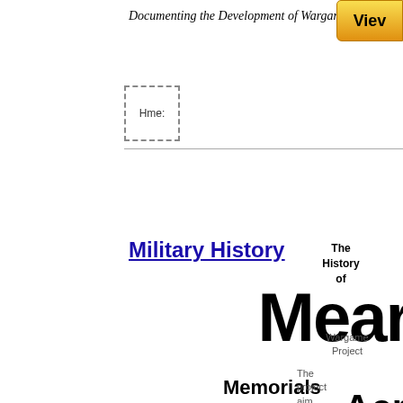Documenting the Development of Wargaming
[Figure (screenshot): Home button with dashed border]
[Figure (screenshot): View button with gold gradient]
Military History
The History of Wargaming Project
Mean...
Memorials Acr...
The project aims to make the largest possible collection of wargami...
19 April 2020
by Mike F. Walsh
Editor: John Curry